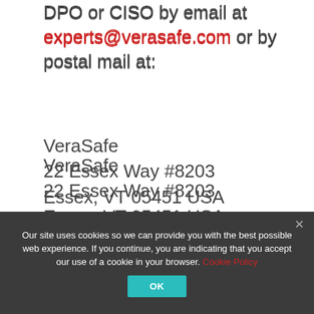DPO or CISO by email at experts@verasafe.com or by postal mail at:
VeraSafe
22 Essex Way #8203
Essex, VT 05451 USA
Please allow up to four weeks for us to reply.
Our site uses cookies so we can provide you with the best possible web experience. If you continue, you are indicating that you accept our use of a cookie in your browser. Cookie Policy